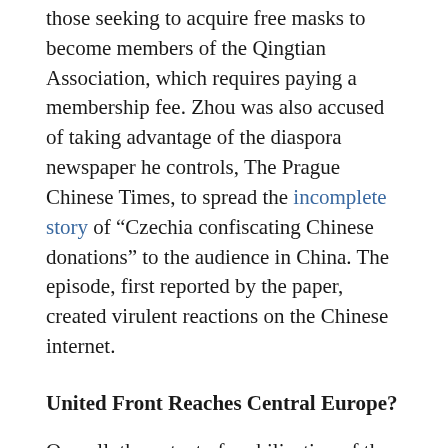those seeking to acquire free masks to become members of the Qingtian Association, which requires paying a membership fee. Zhou was also accused of taking advantage of the diaspora newspaper he controls, The Prague Chinese Times, to spread the incomplete story of "Czechia confiscating Chinese donations" to the audience in China. The episode, first reported by the paper, created virulent reactions on the Chinese internet.
United Front Reaches Central Europe?
Overall, the extent of mobilization of the Chinese diaspora has been unprecedented throughout the epidemic. Local Chinese diaspora associations have coordinated the efforts with embassies as well as United Front organizations in China and other diaspora organizations across Europe. Naturally